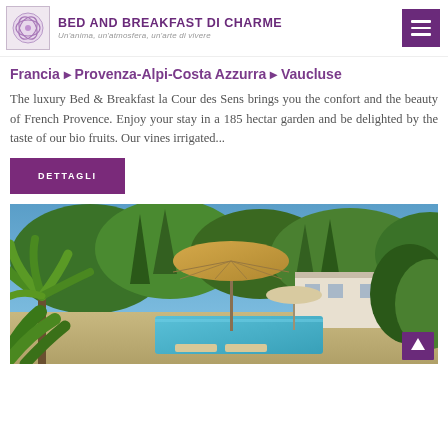BED AND BREAKFAST DI CHARME — Un'anima, un'atmosfera, un'arte di vivere
Francia ▶ Provenza-Alpi-Costa Azzurra ▶ Vaucluse
The luxury Bed & Breakfast la Cour des Sens brings you the confort and the beauty of French Provence. Enjoy your stay in a 185 hectar garden and be delighted by the taste of our bio fruits. Our vines irrigated...
DETTAGLI
[Figure (photo): Outdoor pool area of a Provençal bed and breakfast, with a large tan umbrella, sun loungers, lush green trees, a white building partially visible, and a palm plant in the foreground under a clear blue sky.]